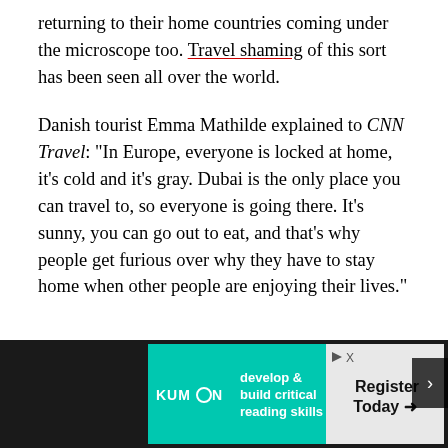returning to their home countries coming under the microscope too. Travel shaming of this sort has been seen all over the world.
Danish tourist Emma Mathilde explained to CNN Travel: “In Europe, everyone is locked at home, it’s cold and it’s gray. Dubai is the only place you can travel to, so everyone is going there. It’s sunny, you can go out to eat, and that's why people get furious over why they have to stay home when other people are enjoying their lives.”
[Figure (other): Advertisement banner for Kumon reading skills program with teal background on left showing 'develop & build critical reading skills' and grey background on right showing 'Register Today' with arrow]